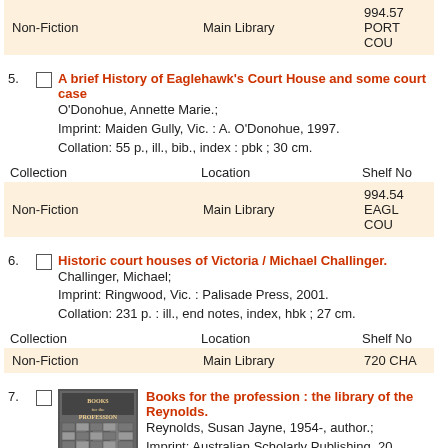| Collection | Location | Shelf No |
| --- | --- | --- |
| Non-Fiction | Main Library | 994.57 PORT COU |
5. A brief History of Eaglehawk's Court House and some court case
O'Donohue, Annette Marie.;
Imprint: Maiden Gully, Vic. : A. O'Donohue, 1997.
Collation: 55 p., ill., bib., index : pbk ; 30 cm.
| Collection | Location | Shelf No |
| --- | --- | --- |
| Non-Fiction | Main Library | 994.54 EAGL COU |
6. Historic court houses of Victoria / Michael Challinger.
Challinger, Michael;
Imprint: Ringwood, Vic. : Palisade Press, 2001.
Collation: 231 p. : ill., end notes, index, hbk ; 27 cm.
| Collection | Location | Shelf No |
| --- | --- | --- |
| Non-Fiction | Main Library | 720 CHA |
7. Books for the profession : the library of the Reynolds.
Reynolds, Susan Jayne, 1954-, author.;
Imprint: Australian Scholarly Publishing, 20
Collation: ix, 144 pages, [10] pages of plate facsims, notes, bib., index, pbk ; 24 cm.
[Figure (photo): Book cover image for 'Books for the Profession' showing a stone building facade]